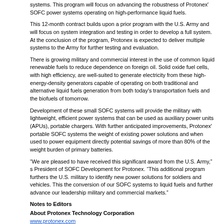systems. This program will focus on advancing the robustness of Protonex' SOFC power systems operating on high-performance liquid fuels.
This 12-month contract builds upon a prior program with the U.S. Army and will focus on system integration and testing in order to develop a full system. At the conclusion of the program, Protonex is expected to deliver multiple systems to the Army for further testing and evaluation.
There is growing military and commercial interest in the use of common liquid renewable fuels to reduce dependence on foreign oil. Solid oxide fuel cells, with high efficiency, are well-suited to generate electricity from these high-energy-density generators capable of operating on both traditional and alternative liquid fuels generation from both today's transportation fuels and the biofuels of tomorrow.
Development of these small SOFC systems will provide the military with lightweight, efficient power systems that can be used as auxiliary power units (APUs), portable chargers. With further anticipated improvements, Protonex' portable SOFC systems the weight of existing power solutions and when used to power equipment directly potential savings of more than 80% of the weight burden of primary batteries.
“We are pleased to have received this significant award from the U.S. Army,” s President of SOFC Development for Protonex. “This additional program furthers the U.S. military to identify new power solutions for soldiers and vehicles. This the conversion of our SOFC systems to liquid fuels and further advance our leadership military and commercial markets.”
Notes to Editors
About Protonex Technology Corporation
www.protonex.com